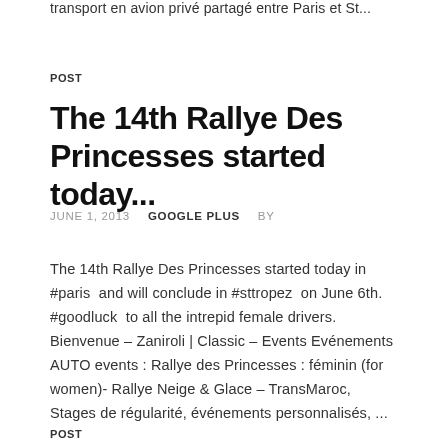transport en avion privé partagé entre Paris et St...
POST
The 14th Rallye Des Princesses started today...
JUNE 1, 2013    GOOGLE PLUS    BY
The 14th Rallye Des Princesses started today in #paris  and will conclude in #sttropez  on June 6th. #goodluck  to all the intrepid female drivers.  Bienvenue – Zaniroli | Classic – Events Evénements AUTO events : Rallye des Princesses : féminin (for women)- Rallye Neige & Glace – TransMaroc, Stages de régularité, événements personnalisés, ...
POST